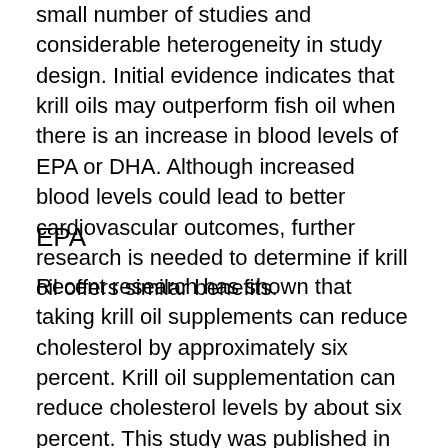small number of studies and considerable heterogeneity in study design. Initial evidence indicates that krill oils may outperform fish oil when there is an increase in blood levels of EPA or DHA. Although increased blood levels could lead to better cardiovascular outcomes, further research is needed to determine if krill oil offers similar benefits.
EPA
Recent research has shown that taking krill oil supplements can reduce cholesterol by approximately six percent. Krill oil supplementation can reduce cholesterol levels by about six percent. This study was published in the journal Nutrients. However, the study's results are preliminary, and further studies are needed to determine the true benefits of krill